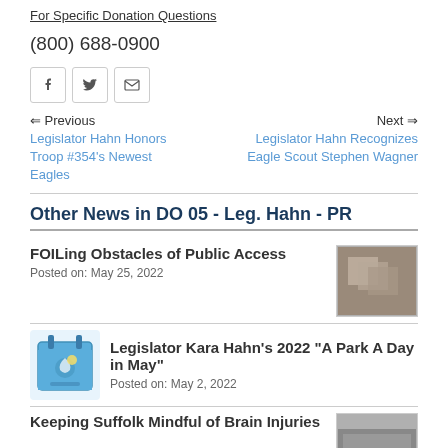For Specific Donation Questions
(800) 688-0900
[Figure (other): Social media share buttons: Facebook, Twitter, Email]
Previous
Legislator Hahn Honors Troop #354's Newest Eagles
Next
Legislator Hahn Recognizes Eagle Scout Stephen Wagner
Other News in DO 05 - Leg. Hahn - PR
FOILing Obstacles of Public Access
Posted on: May 25, 2022
[Figure (photo): Thumbnail photo of FOIL obstacle news item]
[Figure (illustration): Calendar icon with tree and sun, blue themed]
Legislator Kara Hahn's 2022 "A Park A Day in May"
Posted on: May 2, 2022
Keeping Suffolk Mindful of Brain Injuries
[Figure (photo): Thumbnail photo of Brain Injuries news item]